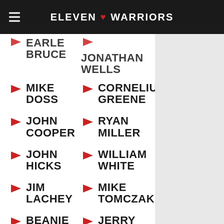ELEVEN WARRIORS
EARLE BRUCE
JONATHAN WELLS
MIKE DOSS
CORNELIUS GREENE
JOHN COOPER
RYAN MILLER
JOHN HICKS
WILLIAM WHITE
JIM LACHEY
MIKE TOMCZAK
BEANIE WELLS
JERRY RUDZINSKI